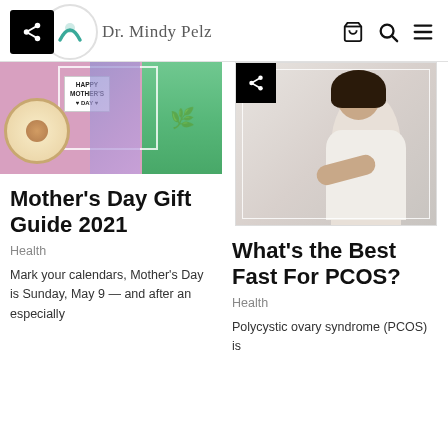Dr. Mindy Pelz
[Figure (photo): Mother's Day themed photo collage with coffee cup and flowers, Happy Mother's Day sign]
Mother's Day Gift Guide 2021
Health
Mark your calendars, Mother's Day is Sunday, May 9 — and after an especially
[Figure (photo): Woman sitting on bed holding her stomach, PCOS related health article image]
What's the Best Fast For PCOS?
Health
Polycystic ovary syndrome (PCOS) is